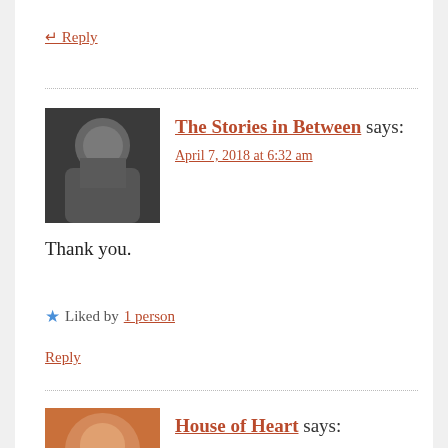↵ Reply
[Figure (photo): Avatar of The Stories in Between - black and white photo of a man with long dark hair and beard]
The Stories in Between says:
April 7, 2018 at 6:32 am
Thank you.
★ Liked by 1 person
Reply
[Figure (photo): Avatar of House of Heart - close-up photo of a woman's face with warm tones]
House of Heart says:
April 7, 2018 at 4:48 am